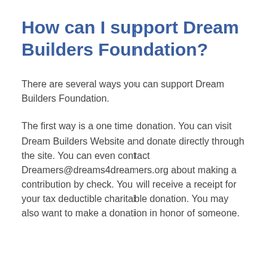How can I support Dream Builders Foundation?
There are several ways you can support Dream Builders Foundation.
The first way is a one time donation. You can visit Dream Builders Website and donate directly through the site. You can even contact Dreamers@dreams4dreamers.org about making a contribution by check. You will receive a receipt for your tax deductible charitable donation. You may also want to make a donation in honor of someone.